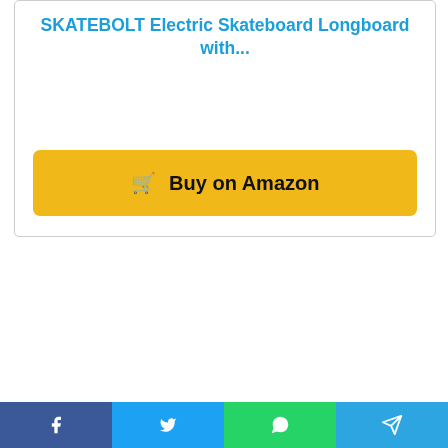SKATEBOLT Electric Skateboard Longboard with...
[Figure (other): Buy on Amazon button (yellow background with shopping cart icon)]
Cruise and climb around the streets with confidence and style when you have the SKATEBOLT Electric Skateboard Longboard. It has a dual motor design to deliver running speeds of up to 25mph which is enough to climb a 25-degree steep hill.
This skateboard is constructed using 8 layers of Northeast maple which make it sturdy to hold...
f  |  Twitter bird  |  WhatsApp  |  Telegram